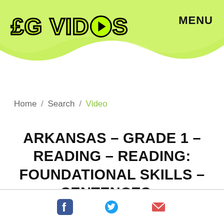[Figure (logo): EGVideos logo with green lettering and play button icon, on a green wave background]
MENU
Home / Search / Video
Arkansas - Grade 1 - Reading - Reading: Foundational Skills - Sentences - RF.1.1a
[Figure (infographic): Social media sharing icons: Facebook, Twitter, Email]